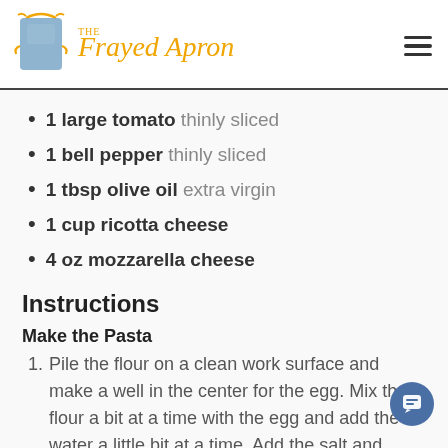The Frayed Apron
1 large tomato thinly sliced
1 bell pepper thinly sliced
1 tbsp olive oil extra virgin
1 cup ricotta cheese
4 oz mozzarella cheese
Instructions
Make the Pasta
Pile the flour on a clean work surface and make a well in the center for the egg. Mix the flour a bit at a time with the egg and add the water a little bit at a time. Add the salt and knead by hand for a couple minutes to form a smooth dough. Wrap